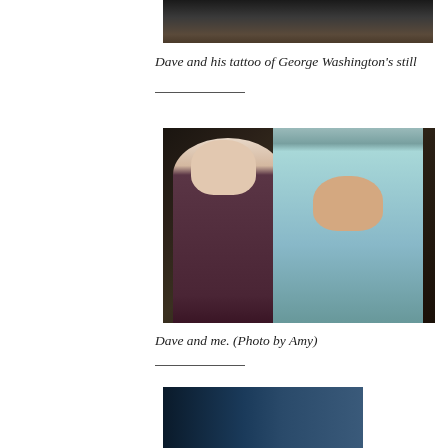[Figure (photo): Top portion of a photo showing a person's torso in a dark interior setting]
Dave and his tattoo of George Washington's still
[Figure (photo): Two men posing together in a bar or restaurant. The man on the left wears glasses and a dark maroon shirt. The man on the right wears a cowboy hat and a light blue/teal striped shirt.]
Dave and me. (Photo by Amy)
[Figure (photo): Bottom portion of a photo with a blue/dark teal background, partially cropped]